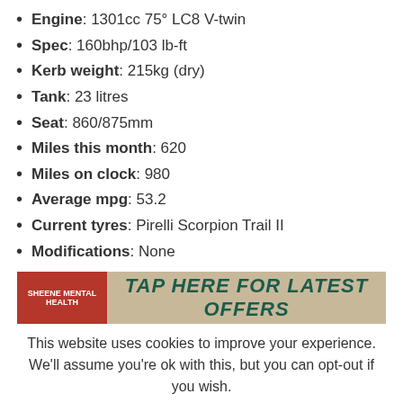Engine: 1301cc 75° LC8 V-twin
Spec: 160bhp/103 lb-ft
Kerb weight: 215kg (dry)
Tank: 23 litres
Seat: 860/875mm
Miles this month: 620
Miles on clock: 980
Average mpg: 53.2
Current tyres: Pirelli Scorpion Trail II
Modifications: None
[Figure (photo): Advertisement banner: Sheene Mental Health brand on left in red, TAP HERE FOR LATEST OFFERS text on right in dark green italic bold on beige background]
This website uses cookies to improve your experience. We'll assume you're ok with this, but you can opt-out if you wish.
Accept   Read More